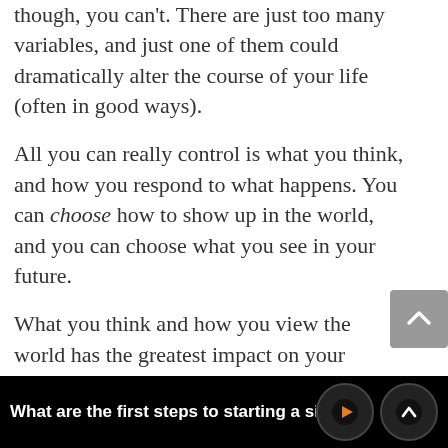though, you can't. There are just too many variables, and just one of them could dramatically alter the course of your life (often in good ways).
All you can really control is what you think, and how you respond to what happens. You can choose how to show up in the world, and you can choose what you see in your future.
What you think and how you view the world has the greatest impact on your present and your future, for it's your thoughts and beliefs that inform your actions. Your actions, repeated over time, create your habits, and your habits go on to shape your life.
What are the first steps to starting a side busin